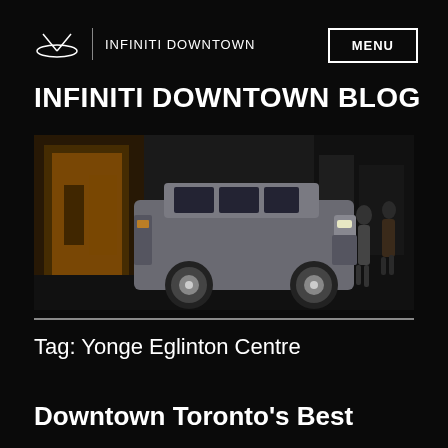INFINITI DOWNTOWN
INFINITI DOWNTOWN BLOG
[Figure (photo): Side view of a large grey Infiniti QX SUV parked on a city street at night, with two people walking behind it and illuminated storefront windows in the background.]
Tag: Yonge Eglinton Centre
Downtown Toronto's Best